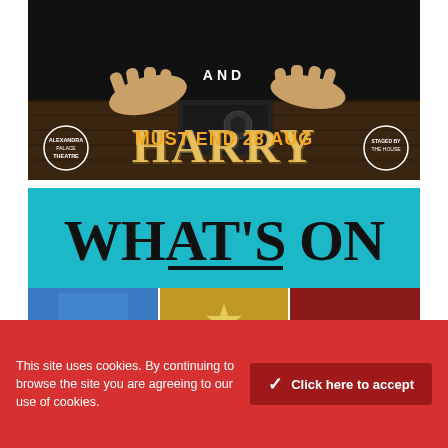[Figure (photo): Theatre show poster with dark background, hands reaching out, text 'AND HARRY', 'Alexandra Palace Theatre', 'MUST END 28 AUG', 'Staged by The House']
[Figure (photo): What's On collage banner with teal background showing musical theatre shows: Dear Evan Hansen, Hamilton, Les Misérables, The Book of Mormon, Mary Poppins, Mamma Mia and others]
This site uses cookies. By continuing to browse the site you are agreeing to our use of cookies.
Click here to accept